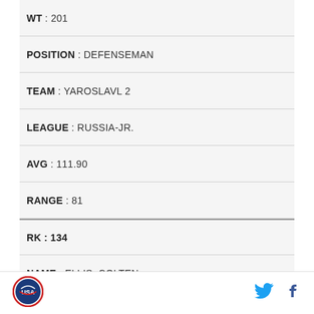| WT | 201 |
| POSITION | DEFENSEMAN |
| TEAM | YAROSLAVL 2 |
| LEAGUE | RUSSIA-JR. |
| AVG | 111.90 |
| RANGE | 81 |
| RK | 134 |
| NAME | ELLIS, COLTEN |
| HT | 6' 0" |
| WT | 189 |
| POSITION | GOALIE |
[Figure (logo): Circular sports organization logo with red border]
[Figure (logo): Twitter bird icon in cyan/blue]
[Figure (logo): Facebook f icon in dark blue]